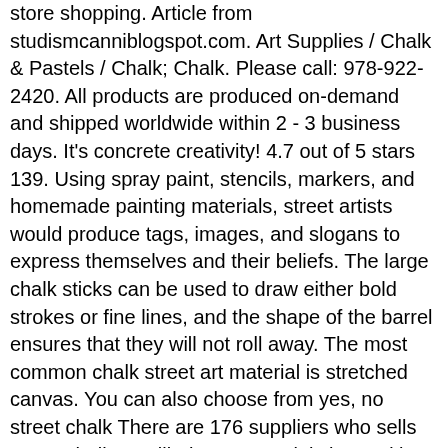store shopping. Article from studismcanniblogspot.com. Art Supplies / Chalk & Pastels / Chalk; Chalk. Please call: 978-922-2420. All products are produced on-demand and shipped worldwide within 2 - 3 business days. It's concrete creativity! 4.7 out of 5 stars 139. Using spray paint, stencils, markers, and homemade painting materials, street artists would produce tags, images, and slogans to express themselves and their beliefs. The large chalk sticks can be used to draw either bold strokes or fine lines, and the shape of the barrel ensures that they will not roll away. The most common chalk street art material is stretched canvas. You can also choose from yes, no street chalk There are 176 suppliers who sells street chalk on Alibaba.com, mainly located in ... Plus, we some other essential chalk artist supplies like sanding blocks, blending blocks, Kwik-Wipes, and hand soap. 24 matches. Sidewalk Chalk Drawings. This type of spray chalk can be rinsed away easily with water. For optimum vibrancy, try our fluorescent chalk. $3.00 coupon applied at ... Home Artists Supplies Learn Events Contact Artist: Shelley Brenner. So, summer sidewalk chalk art is one of our absolutely favorite activities with kids. With the right supplies and techniques ...